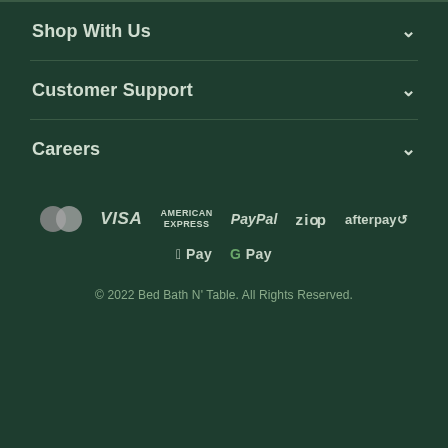Shop With Us
Customer Support
Careers
[Figure (other): Payment method logos: Mastercard, Visa, American Express, PayPal, Zip, Afterpay, Apple Pay, Google Pay]
© 2022 Bed Bath N' Table. All Rights Reserved.